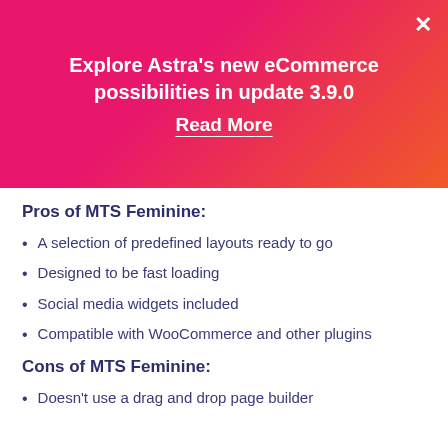[Figure (other): Pink-to-orange gradient banner with promotional text and close button]
Explore Astra's new eCommerce possibilities in update 3.9.0
Read More
Pros of MTS Feminine:
A selection of predefined layouts ready to go
Designed to be fast loading
Social media widgets included
Compatible with WooCommerce and other plugins
Cons of MTS Feminine:
Doesn't use a drag and drop page builder